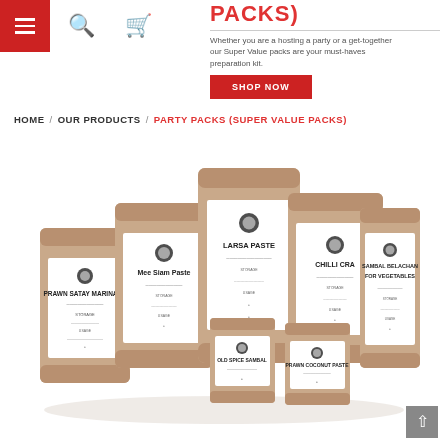PACKS) — navigation bar with hamburger menu, search icon, cart icon
Whether you are a hosting a party or a get-together our Super Value packs are your must-haves preparation kit.
SHOP NOW
HOME / OUR PRODUCTS / PARTY PACKS (SUPER VALUE PACKS)
[Figure (photo): Group of brown kraft paper food product pouches with white labels, including Prawn Satay Marinade, Mee Siam Paste, Larsa Paste, Chilli Crab, Sambal Belachan for Vegetables, and two smaller pouches in front, arranged in an overlapping display.]